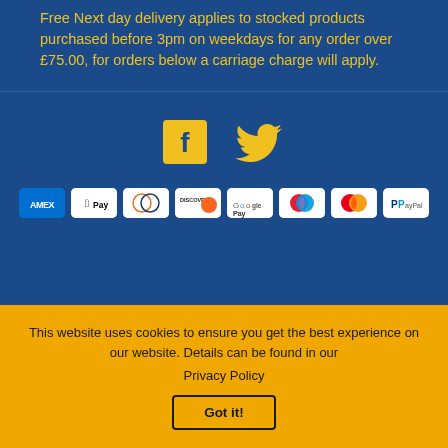Free Next day delivery applies to stocked products purchased before 3pm on weekdays for any order over £75.00, for orders below a carriage charge will apply.
[Figure (illustration): Social media icons: Facebook (F) and Twitter (bird) in yellow on blue background]
[Figure (illustration): Payment method badges: American Express, Apple Pay, Diners Club, Discover, Google Pay, Maestro, Mastercard, PayPal, and two more partially visible]
This website uses cookies to ensure you get the best experience on our website. Details can be found in our Privacy Policy
Got it!